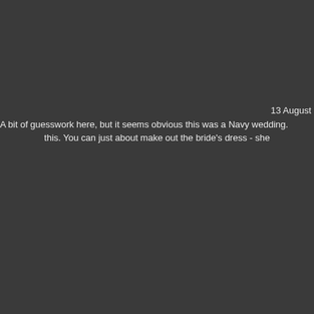13 August
A bit of guesswork here, but it seems obvious this was a Navy wedding.
this. You can just about make out the bride's dress - she